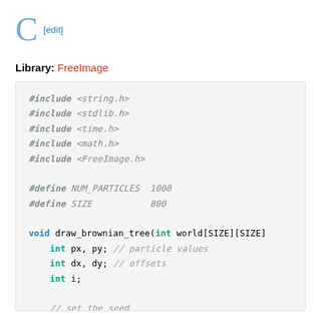C [edit]
Library: FreeImage
[Figure (screenshot): C source code block showing #include directives for string.h, stdlib.h, time.h, math.h, FreeImage.h; #define NUM_PARTICLES 1000 and SIZE 800; function signature void draw_brownian_tree(int world[SIZE][SIZE]); local variable declarations int px, py, dx, dy, i; seed initialization world[rand() % SIZE][rand() % SIZE] = 1; for loop initialization for (i = 0; i < NUM_PARTICLES; i++){ // set particle's initial position]